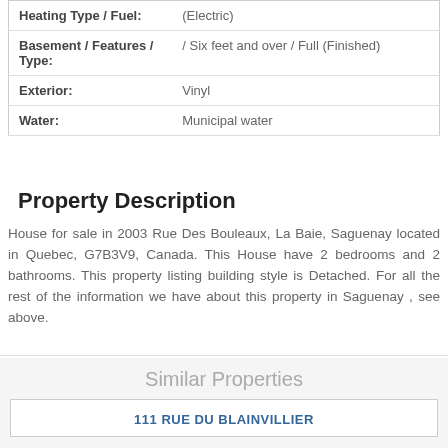| Property Feature | Value |
| --- | --- |
| Heating Type / Fuel: | (Electric) |
| Basement / Features / Type: | / Six feet and over / Full (Finished) |
| Exterior: | Vinyl |
| Water: | Municipal water |
Property Description
House for sale in 2003 Rue Des Bouleaux, La Baie, Saguenay located in Quebec, G7B3V9, Canada. This House have 2 bedrooms and 2 bathrooms. This property listing building style is Detached. For all the rest of the information we have about this property in Saguenay , see above.
Similar Properties
111 RUE DU BLAINVILLIER